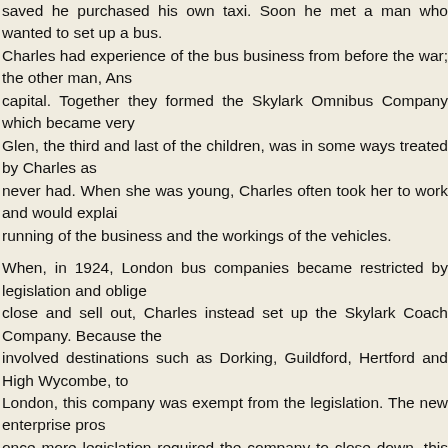saved he purchased his own taxi. Soon he met a man who wanted to set up a bus. Charles had experience of the bus business from before the war; the other man, Ans capital. Together they formed the Skylark Omnibus Company which became very Glen, the third and last of the children, was in some ways treated by Charles as never had. When she was young, Charles often took her to work and would explain running of the business and the workings of the vehicles.
When, in 1924, London bus companies became restricted by legislation and oblige close and sell out, Charles instead set up the Skylark Coach Company. Because the involved destinations such as Dorking, Guildford, Hertford and High Wycombe, to London, this company was exempt from the legislation. The new enterprise pros once more legislation required the company to close down, this time to be replace Line Coaches. Charles invested the money in a fleet of London taxis. He retained depot at Shepherds Bush, modifying it in order to serve the same purpose for taxis new business prospered and Charles ran this until 1945.
For two years, from late 1940, Charles held the position of Mayor of Acton. The cir of his return from France in early 1916, coupled with his indomitable business spirit him to be regarded as something of a local celebrity. There is no suggestion that h much interested in politics (other than his dislike for the constant interference in h affairs) and he was not a man given to currying favour (during his army service he turned down opportunities for promotion). Perhaps it was felt that he would be the man to have at the helm during wartime. Certainly the period of his mayorship